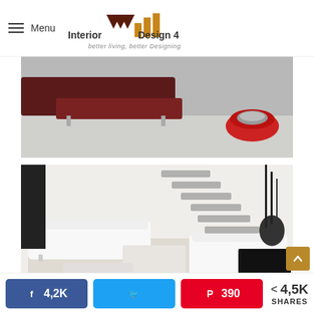Menu | Interior Design 4 — better living, better Designing
[Figure (photo): Partial view of a modern living room with dark maroon/burgundy sofa, light grey flooring, and a red bowl-shaped decorative piece on the floor]
[Figure (photo): Modern living room interior with white leather sofas, floating grey staircase on white wall, dark vase with branches, black coffee/side table, and light rug]
4,2K  [Twitter share]  390  < 4,5K SHARES